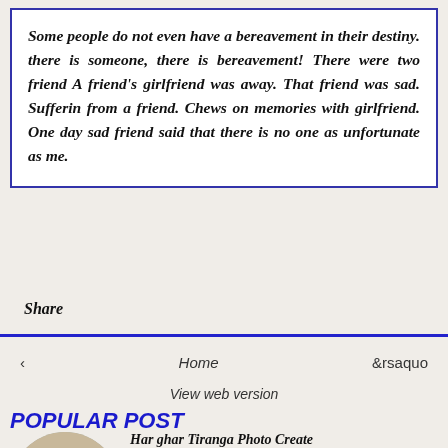Some people do not even have a bereavement in their destiny. there is someone, there is bereavement! There were two friend A friend's girlfriend was away. That friend was sad. Sufferin from a friend. Chews on memories with girlfriend. One day sad friend said that there is no one as unfortunate as me.
Share
‹
Home
&rsaquo
View web version
POPULAR POST
[Figure (photo): Circular photo of a man in front of an Indian flag background with Hindi text 'Har Ghar Tiranga']
Har ghar Tiranga Photo Create
Har Ghar Tiranga' is a campaign under the aegis of Azadi Ka...